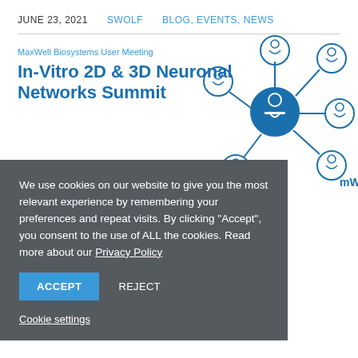JUNE 23, 2021   SWOLF   BLOG, EVENTS, NEWS
MaxWell Biosystems User Meeting
In-Vitro 2D & 3D Neuronal Networks Summit
[Figure (illustration): Network diagram showing presenter at podium in center circle connected to 5 surrounding circles each containing a person icon, in blue line art style with MaxWell Biosystems logo]
...e-vitro 2D and 3D ...tems User ...mendously ...cs from 49 c...
We use cookies on our website to give you the most relevant experience by remembering your preferences and repeat visits. By clicking “Accept”, you consent to the use of ALL the cookies. Read more about our Privacy Policy
ACCEPT   REJECT
Cookie settings